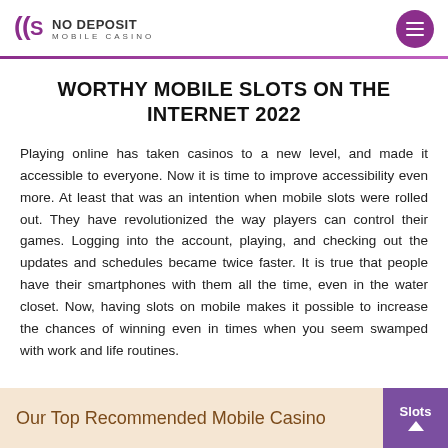No Deposit Mobile Casino
WORTHY MOBILE SLOTS ON THE INTERNET 2022
Playing online has taken casinos to a new level, and made it accessible to everyone. Now it is time to improve accessibility even more. At least that was an intention when mobile slots were rolled out. They have revolutionized the way players can control their games. Logging into the account, playing, and checking out the updates and schedules became twice faster. It is true that people have their smartphones with them all the time, even in the water closet. Now, having slots on mobile makes it possible to increase the chances of winning even in times when you seem swamped with work and life routines.
Our Top Recommended Mobile Casino Slots